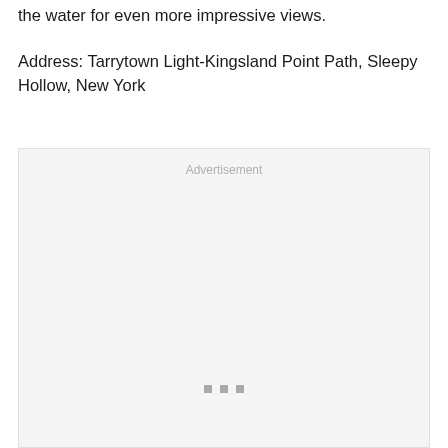the water for even more impressive views.
Address: Tarrytown Light-Kingsland Point Path, Sleepy Hollow, New York
[Figure (other): Advertisement placeholder box with label 'Advertisement' at top and three small square dots near bottom center.]